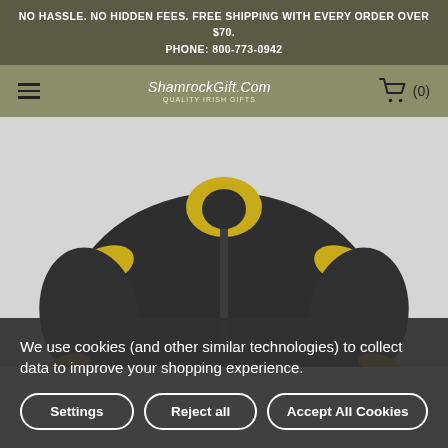NO HASSLE. NO HIDDEN FEES. FREE SHIPPING WITH EVERY ORDER OVER $70. PHONE: 800-773-0942
ShamrockGift.Com QUALITY IRISH GIFTS
[Figure (photo): A black jacket with yellow accent details photographed from the front, slightly blurred/out-of-focus product photo on a white background.]
We use cookies (and other similar technologies) to collect data to improve your shopping experience.
Settings
Reject all
Accept All Cookies